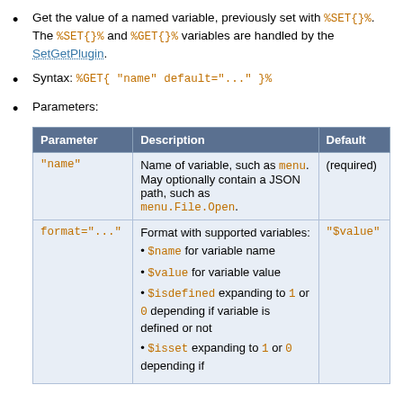Get the value of a named variable, previously set with %SET{}%. The %SET{}% and %GET{}% variables are handled by the SetGetPlugin.
Syntax: %GET{ "name" default="..." }%
Parameters:
| Parameter | Description | Default |
| --- | --- | --- |
| "name" | Name of variable, such as menu. May optionally contain a JSON path, such as menu.File.Open. | (required) |
| format="..." | Format with supported variables:
• $name for variable name
• $value for variable value
• $isdefined expanding to 1 or 0 depending if variable is defined or not
• $isset expanding to 1 or 0 depending if | "$value" |